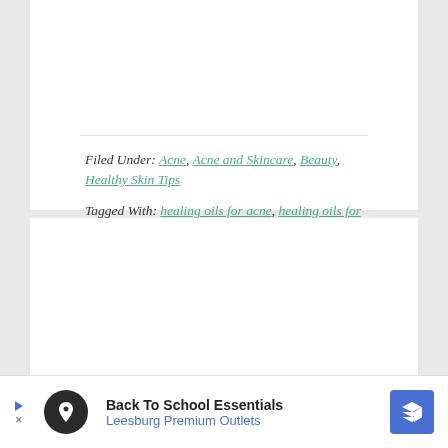Filed Under: Acne, Acne and Skincare, Beauty, Healthy Skin Tips
Tagged With: healing oils for acne, healing oils for dry skin, how to use oils topically
[Figure (infographic): Herbal Academy advertisement banner. Left: dark background with H logo circle badge reading HERBAL ACADEMY. Center/Right: gold banner saying '** Introductory HERBAL COURSE' with 'LEARN MORE' button. Top: 'Affordable online programs for all levels!']
ABOUT TASH
[Figure (infographic): Bottom advertisement for Back To School Essentials - Leesburg Premium Outlets, with circular logo and blue arrow icon on right.]